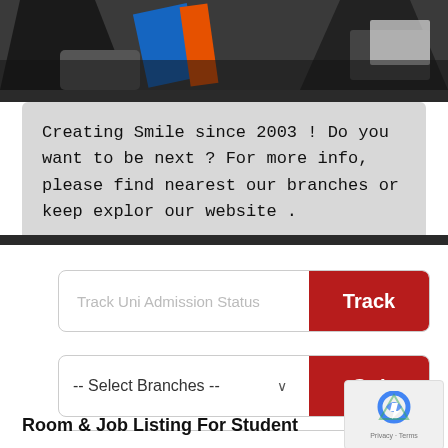[Figure (photo): Photo banner showing people in formal attire, one wearing a blue and yellow sash, dark background]
Creating Smile since 2003 ! Do you want to be next ? For more info, please find nearest our branches or keep explor our website .
[Figure (screenshot): Track Uni Admission Status input field with dark red Track button]
[Figure (screenshot): Select Branches dropdown with dark red Go! button]
Room & Job Listing For Student
[Figure (other): reCAPTCHA widget showing Privacy - Terms]